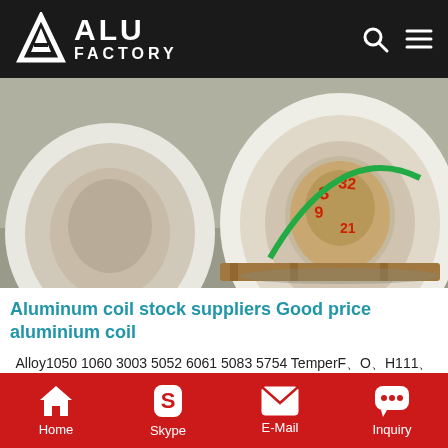ALU FACTORY
[Figure (photo): Large white aluminum coil rolls stored in a warehouse, with red Chinese handwriting on a wooden core visible]
Aluminum coil stock suppliers Good price aluminium coil
Alloy1050 1060 3003 5052 6061 5083 5754 TemperF、O、H111、H12、H14、H16、H18、H22、H24、H26、H28、H32、H34、H36、H38 T4, T6, T651 Thickness0.2-8mm Width100-2650mm Length500-16000mm. The number of aluminum coil stock suppliers in China keeps increasing. It takes great effort to pick really outstanding suppliers out of
Home  Skype  E-Mail  Inquiry